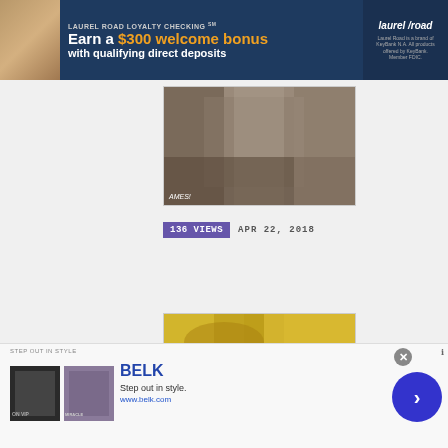[Figure (screenshot): Laurel Road Loyalty Checking advertisement banner. Text reads: LAUREL ROAD LOYALTY CHECKING SM, Earn a $300 welcome bonus with qualifying direct deposits. Laurel Road logo on right side with text: Laurel Road is a brand of KeyBank N.A. All products offered by KeyBank. Member FDIC.]
[Figure (photo): Photo of a woman in a sparkly silver/grey dress at what appears to be a movie premiere or red carpet event. Partial text visible at bottom: AMES!]
136 VIEWS   APR 22, 2018
[Figure (photo): Partial photo showing golden/blonde colors, appears to be another celebrity photo partially visible.]
[Figure (screenshot): Belk advertisement banner. Text reads: STEP OUT IN STYLE, BELK, Step out in style. www.belk.com. Two thumbnail images shown on left side labeled ON VIP and MIRACLE. Navigation arrow button on right. Close button X at top right.]